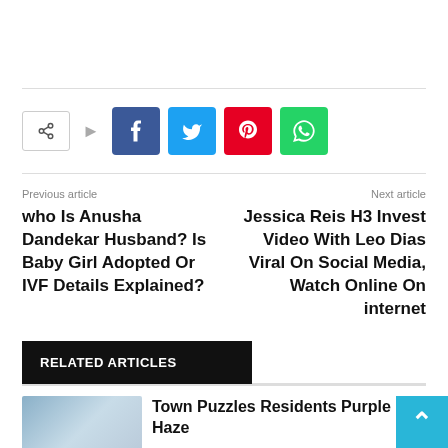[Figure (infographic): Social share buttons row: share icon box, arrow, then Facebook (blue), Twitter (cyan), Pinterest (red), WhatsApp (green) buttons]
Previous article
who Is Anusha Dandekar Husband? Is Baby Girl Adopted Or IVF Details Explained?
Next article
Jessica Reis H3 Invest Video With Leo Dias Viral On Social Media, Watch Online On internet
RELATED ARTICLES
Town Puzzles Residents Purple Haze